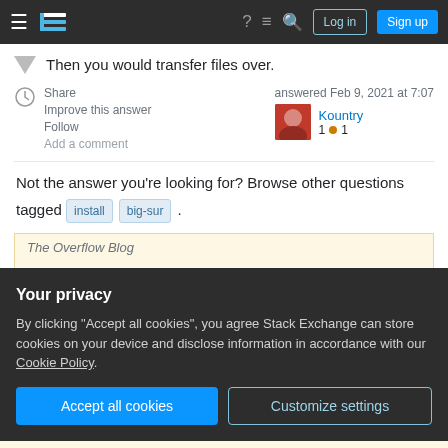Stack Exchange navigation bar with Log in and Sign up buttons
Then you would transfer files over.
Share
Improve this answer
Follow
Add a comment
answered Feb 9, 2021 at 7:07
Kountry
1 ● 1
Not the answer you're looking for? Browse other questions tagged install big-sur .
The Overflow Blog
Your privacy
By clicking "Accept all cookies", you agree Stack Exchange can store cookies on your device and disclose information in accordance with our Cookie Policy.
Accept all cookies
Customize settings